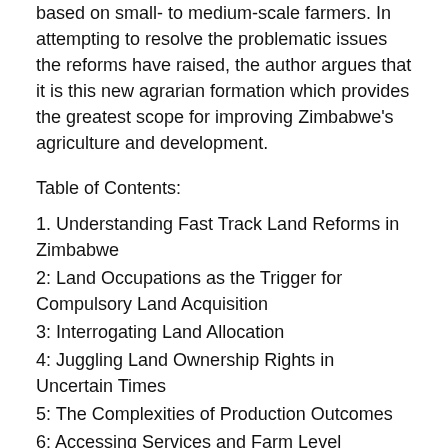based on small- to medium-scale farmers. In attempting to resolve the problematic issues the reforms have raised, the author argues that it is this new agrarian formation which provides the greatest scope for improving Zimbabwe's agriculture and development.
Table of Contents:
1. Understanding Fast Track Land Reforms in Zimbabwe
2: Land Occupations as the Trigger for Compulsory Land Acquisition
3: Interrogating Land Allocation
4: Juggling Land Ownership Rights in Uncertain Times
5: The Complexities of Production Outcomes
6: Accessing Services and Farm Level Investments
7: ‘Revolutionary Progress’ without Change in Women’s Land Rights